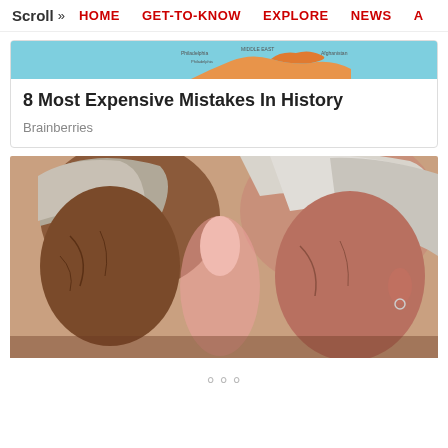Scroll >> HOME  GET-TO-KNOW  EXPLORE  NEWS  A
[Figure (map): Partial world map thumbnail with light blue background and orange landmass, with small text labels]
8 Most Expensive Mistakes In History
Brainberries
[Figure (photo): Two elderly people with white/grey hair touching foreheads together, shown in profile, close-up portrait]